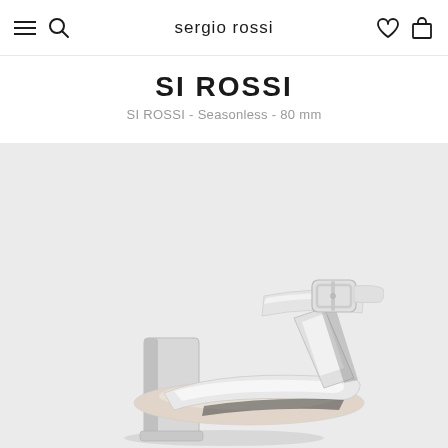sergio rossi
SI ROSSI
SI ROSSI - Seasonless - 80 mm
[Figure (photo): Close-up product photo of a silver/mirror metallic high-heel sandal with ankle strap and rectangular buckle, photographed against a light grey background. The heel is a chunky block style. The straps are wide and cross at the front.]